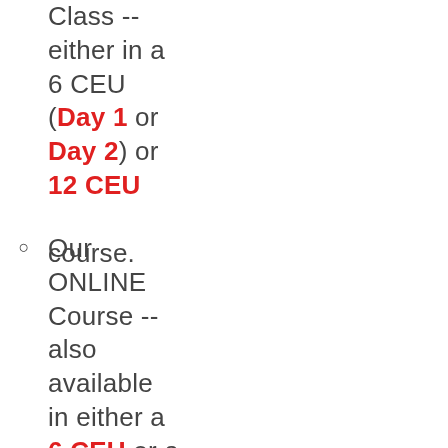Class -- either in a 6 CEU (Day 1 or Day 2) or 12 CEU course.
Our ONLINE Course -- also available in either a 6 CEU or a 12 CEU course.